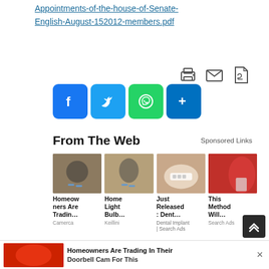Appointments-of-the-house-of-Senate-English-August-152012-members.pdf
[Figure (other): Social sharing icons: print, email, PDF, Facebook, Twitter, WhatsApp, share-more]
From The Web
Sponsored Links
[Figure (infographic): Four sponsored ad thumbnails with titles: Homeowners Are Tradin..., Home Light Bulb..., Just Released : Dent..., This Method Will... from sources Camerca, Keillini, Dental Implant | Search Ads, Search Ads]
[Figure (other): Bottom advertisement bar: Homeowners Are Trading In Their Doorbell Cam For This with close button]